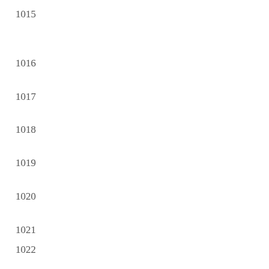1015
1016
1017
1018
1019
1020
1021
1022